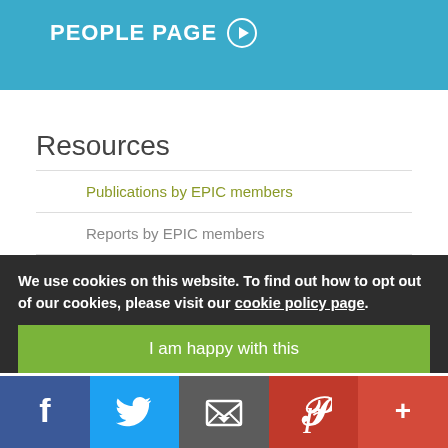PEOPLE PAGE ▶
Resources
Publications by EPIC members
Reports by EPIC members
Posters by EPIC members
Presentations by EPIC members
We use cookies on this website. To find out how to opt out of our cookies, please visit our cookie policy page.
I am happy with this
[Figure (other): Social media share bar with Facebook, Twitter, Email, Pinterest, and More icons]